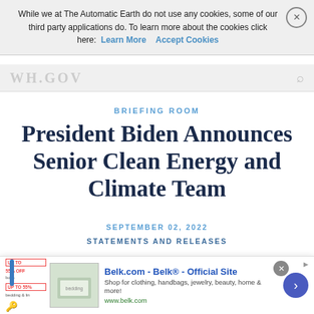While we at The Automatic Earth do not use any cookies, some of our third party applications do. To learn more about the cookies click here: Learn More   Accept Cookies
WH.GOV
BRIEFING ROOM
President Biden Announces Senior Clean Energy and Climate Team
SEPTEMBER 02, 2022
STATEMENTS AND RELEASES
John Podesta to Serve as Senior Advisor to the
Belk.com - Belk® - Official Site
Shop for clothing, handbags, jewelry, beauty, home & more!
www.belk.com